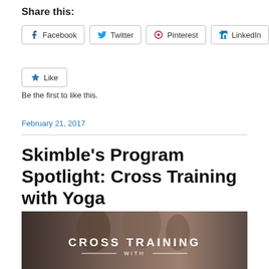Share this:
Facebook   Twitter   Pinterest   LinkedIn
Like   Be the first to like this.
February 21, 2017
Skimble’s Program Spotlight: Cross Training with Yoga
[Figure (photo): Two people doing yoga/cross training poses in a gym, with overlay text reading CROSS TRAINING WITH]